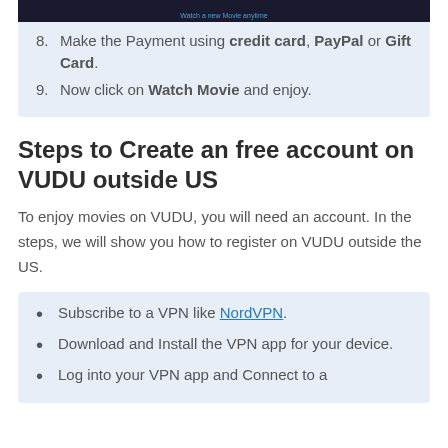[Figure (screenshot): Screenshot of a dark-themed VUDU payment or account page with a URL/link bar visible]
8. Make the Payment using credit card, PayPal or Gift Card.
9. Now click on Watch Movie and enjoy.
Steps to Create an free account on VUDU outside US
To enjoy movies on VUDU, you will need an account. In the steps, we will show you how to register on VUDU outside the US.
Subscribe to a VPN like NordVPN.
Download and Install the VPN app for your device.
Log into your VPN app and Connect to a